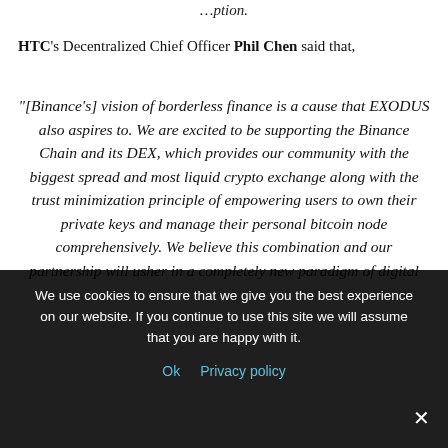...ption.
HTC's Decentralized Chief Officer Phil Chen said that,
"[Binance's] vision of borderless finance is a cause that EXODUS also aspires to. We are excited to be supporting the Binance Chain and its DEX, which provides our community with the biggest spread and most liquid crypto exchange along with the trust minimization principle of empowering users to own their private keys and manage their personal bitcoin node comprehensively. We believe this combination and our partnership will usher in a completely new paradigm of digital
We use cookies to ensure that we give you the best experience on our website. If you continue to use this site we will assume that you are happy with it. Ok  Privacy policy